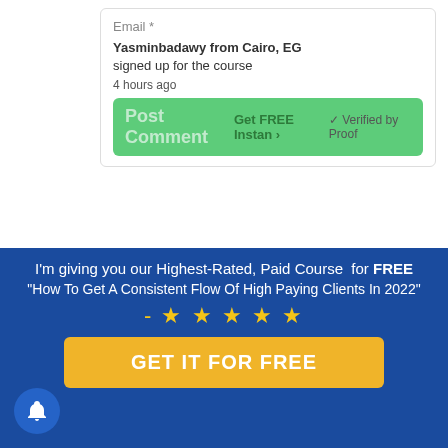Email *
Yasminbadawy from Cairo, EG signed up for the course
4 hours ago
Post Comment Get FREE Instan > ✓ Verified by Proof
379 shares
[Figure (illustration): Facebook logo icon in blue]
[Figure (illustration): Twitter bird icon in blue]
Home   Privacy Policy   Cookie Policy
© 2022 Coach Foundation | All Rights Reserved
I'm giving you our Highest-Rated, Paid Course for FREE
"How To Get A Consistent Flow Of High Paying Clients In 2022"
- ★ ★ ★ ★ ★
GET IT FOR FREE